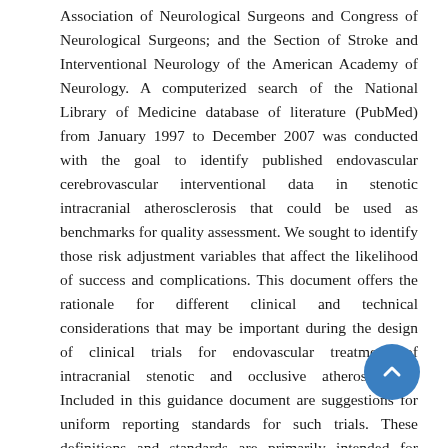Association of Neurological Surgeons and Congress of Neurological Surgeons; and the Section of Stroke and Interventional Neurology of the American Academy of Neurology. A computerized search of the National Library of Medicine database of literature (PubMed) from January 1997 to December 2007 was conducted with the goal to identify published endovascular cerebrovascular interventional data in stenotic intracranial atherosclerosis that could be used as benchmarks for quality assessment. We sought to identify those risk adjustment variables that affect the likelihood of success and complications. This document offers the rationale for different clinical and technical considerations that may be important during the design of clinical trials for endovascular treatment of intracranial stenotic and occlusive atherosclerosis. Included in this guidance document are suggestions for uniform reporting standards for such trials. These definitions and standards are primarily intended for research purposes; however, they should also be helpful in clinical practice and applicable to all publications. Conclusion-: In summary, the definitions proposed represent recommendations for constructing useful research data sets. The intent is to facilitate production of scientifically rigorous results capable of reliable comparisons between and among similar studies. In some cases, the definitions contained